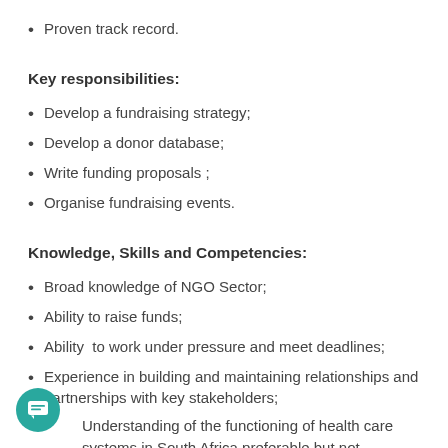Proven track record.
Key responsibilities:
Develop a fundraising strategy;
Develop a donor database;
Write funding proposals ;
Organise fundraising events.
Knowledge, Skills and Competencies:
Broad knowledge of NGO Sector;
Ability to raise funds;
Ability  to work under pressure and meet deadlines;
Experience in building and maintaining relationships and partnerships with key stakeholders;
Understanding of the functioning of health care systems in South Africa preferable but not necessary.